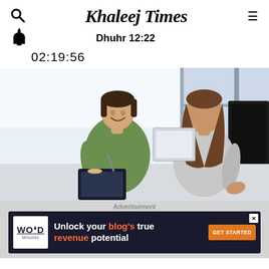Khaleej Times
Dhuhr 12:22
02:19:56
[Figure (photo): Two women in a professional meeting setting. One woman in a green top is smiling and holding a tablet/clipboard with a pen, facing another woman in a grey sleeveless top who is seated across from her. Background shows office windows and a monitor.]
Advertisement
[Figure (infographic): Advertisement banner for WordMinutes with dark background. Logo on left shows 'WORD' with underline and 'Minuttes' below. Text reads 'Unlock your blog's true revenue potential' with 'blog's' and 'revenue' in orange. Orange 'GET STARTED' button on right. X close button top right.]